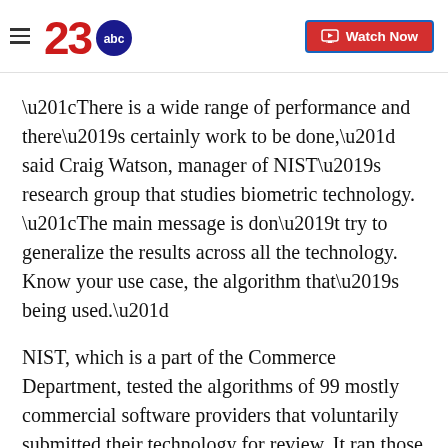23abc | Watch Now
“There is a wide range of performance and there’s certainly work to be done,” said Craig Watson, manager of NIST’s research group that studies biometric technology. “The main message is don’t try to generalize the results across all the technology. Know your use case, the algorithm that’s being used.”
NIST, which is a part of the Commerce Department, tested the algorithms of 99 mostly commercial software providers that voluntarily submitted their technology for review. It ran those algorithms on millions of FBI mugshots, visa application photos and other government-held portrait images such as those